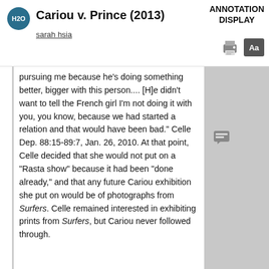Cariou v. Prince (2013)
sarah hsia
ANNOTATION DISPLAY
pursuing me because he's doing something better, bigger with this person.... [H]e didn't want to tell the French girl I'm not doing it with you, you know, because we had started a relation and that would have been bad." Celle Dep. 88:15-89:7, Jan. 26, 2010. At that point, Celle decided that she would not put on a "Rasta show" because it had been "done already," and that any future Cariou exhibition she put on would be of photographs from Surfers. Celle remained interested in exhibiting prints from Surfers, but Cariou never followed through.